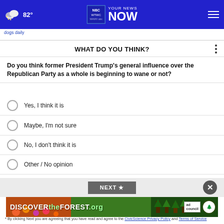☁ 82° | WTWC WAWV NBC2 YOUR NEWS NOW | ☰
dogs daily
WHAT DO YOU THINK?
Do you think former President Trump's general influence over the Republican Party as a whole is beginning to wane or not?
Yes, I think it is
Maybe, I'm not sure
No, I don't think it is
Other / No opinion
[Figure (other): NEXT button and close (X) button overlay]
[Figure (photo): DISCOVERtheFOREST.org advertisement banner with colorful forest imagery, ad council logo, and US Forest Service shield badge]
* By clicking Next you are agreeing that you have read and agree to the CivicScience Privacy Policy and Terms of Service